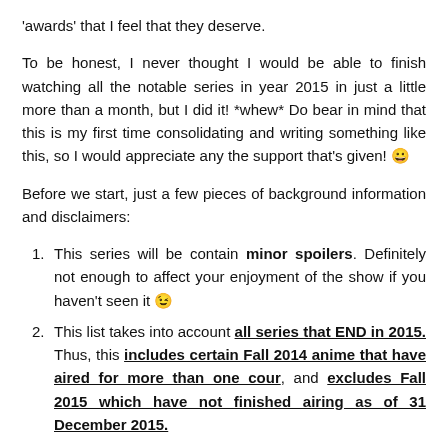'awards' that I feel that they deserve.
To be honest, I never thought I would be able to finish watching all the notable series in year 2015 in just a little more than a month, but I did it! *whew* Do bear in mind that this is my first time consolidating and writing something like this, so I would appreciate any the support that's given! 😀
Before we start, just a few pieces of background information and disclaimers:
This series will be contain minor spoilers. Definitely not enough to affect your enjoyment of the show if you haven't seen it 😉
This list takes into account all series that END in 2015. Thus, this includes certain Fall 2014 anime that have aired for more than one cour, and excludes Fall 2015 which have not finished airing as of 31 December 2015.
Out of the 196 known anime series (including shorts) that have